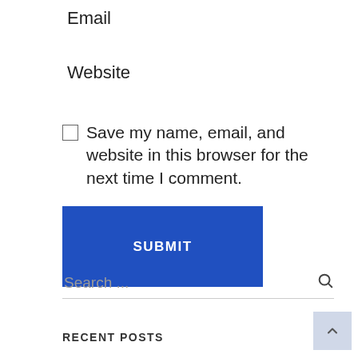Email
Website
Save my name, email, and website in this browser for the next time I comment.
SUBMIT
Search ...
RECENT POSTS